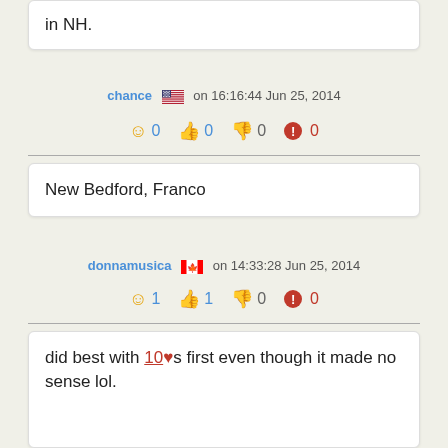in NH.
chance 🇺🇸 on 16:16:44 Jun 25, 2014
☺ 0  👍 0  👎 0  ⓘ 0
New Bedford, Franco
donnamusica 🇨🇦 on 14:33:28 Jun 25, 2014
☺ 1  👍 1  👎 0  ⓘ 0
did best with 10❤s first even though it made no sense lol.